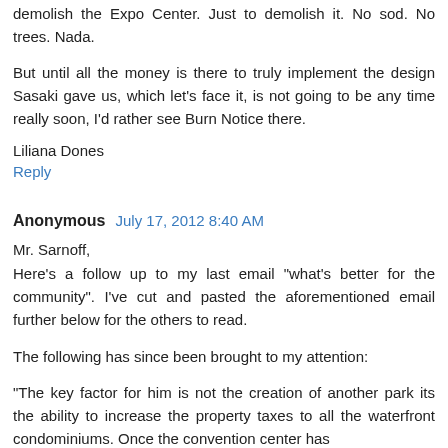demolish the Expo Center. Just to demolish it. No sod. No trees. Nada.
But until all the money is there to truly implement the design Sasaki gave us, which let's face it, is not going to be any time really soon, I'd rather see Burn Notice there.
Liliana Dones
Reply
Anonymous  July 17, 2012 8:40 AM
Mr. Sarnoff,
Here's a follow up to my last email "what's better for the community". I've cut and pasted the aforementioned email further below for the others to read.
The following has since been brought to my attention:
"The key factor for him is not the creation of another park its the ability to increase the property taxes to all the waterfront condominiums. Once the convention center has